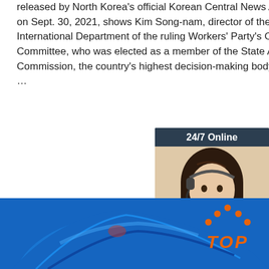released by North Korea's official Korean Central News Agency on Sept. 30, 2021, shows Kim Song-nam, director of the International Department of the ruling Workers' Party's Central Committee, who was elected as a member of the State Affairs Commission, the country's highest decision-making body, during …
[Figure (other): Orange 'Get Price' button]
[Figure (other): Advertisement box with '24/7 Online' header, photo of woman with headset, 'Click here for free chat!' text, and orange 'QUOTATION' button]
[Figure (photo): Blue plastic object (mask or similar) at bottom of page]
[Figure (logo): TOP logo with orange dots and orange text on white background, bottom right]